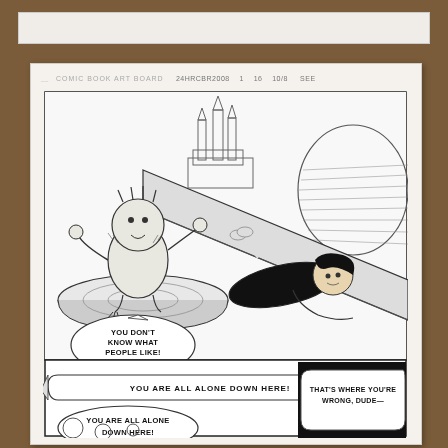[Figure (illustration): Top strip showing a thin white horizontal bar against a wood-grain brown background]
COMIC BOOK ART BOARD  24HRCBR2008  1  16  10/8  SEE
[Figure (illustration): Comic book original art page on art board showing two panels. Top large panel: a furry monster creature standing on a circular platform gesturing with speech bubbles 'YOU DON'T KNOW WHAT PEOPLE LIKE!' and 'YOU DON'T GET PEOPLE!' while a dark-haired person in black clothing lies on a ramp/slide in the background with castle-like structures visible. Bottom partial panel: banner text 'YOU ARE ALL ALONE DOWN HERE!' with a speech bubble 'YOU ARE ALL ALONE DOWN HERE!' and another partially visible speech bubble 'THAT'S WHERE YOU'RE WRONG, DUDE-' with a dark silhouetted figure on the right side.]